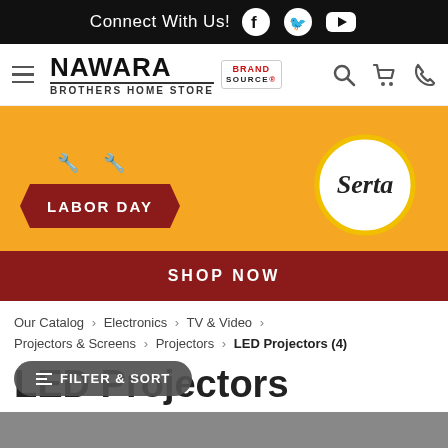Connect With Us!
[Figure (logo): Nawara Brothers Home Store / Brand Source logo with hamburger menu, search, cart, and phone icons]
[Figure (infographic): Labor Day sale banner with Serta logo on orange background, with SHOP NOW button]
Our Catalog › Electronics › TV & Video › Projectors & Screens › Projectors › LED Projectors (4)
LED Projectors